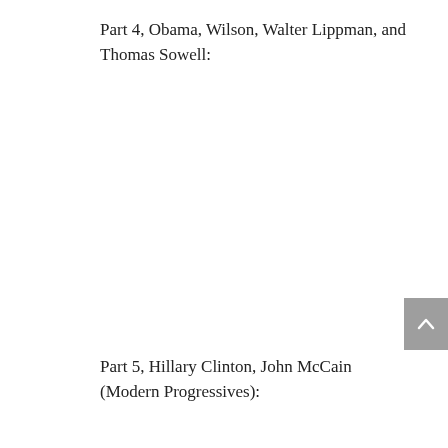Part 4, Obama, Wilson, Walter Lippman, and Thomas Sowell:
Part 5, Hillary Clinton, John McCain (Modern Progressives):